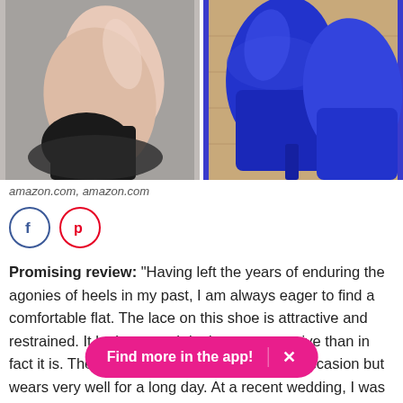[Figure (photo): Two product photos side by side: left shows a foot wearing a lace flat shoe against a grey carpet background; right shows blue high-heel shoes on a wooden floor.]
amazon.com, amazon.com
[Figure (other): Social media share icons: Facebook (blue circle with f) and Pinterest (red circle with P)]
Promising review: "Having left the years of enduring the agonies of heels in my past, I am always eager to find a comfortable flat. The lace on this shoe is attractive and restrained. It looks a good deal more expensive than in fact it is. The lace adds that hint of a special occasion but wears very well for a long day. At a recent wedding, I was able to avoid the pained looks of my c mom is barefoot once again at an event. I even got
Find more in the app!